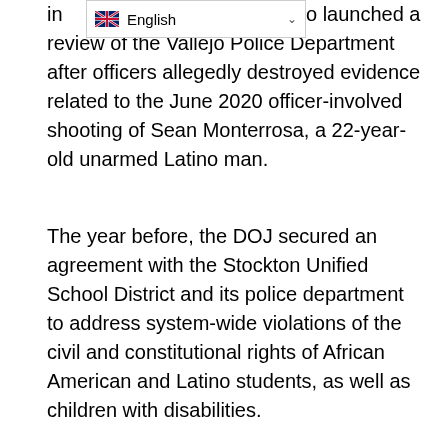in [partially obscured] ra also launched a review of the Vallejo Police Department after officers allegedly destroyed evidence related to the June 2020 officer-involved shooting of Sean Monterrosa, a 22-year-old unarmed Latino man.
The year before, the DOJ secured an agreement with the Stockton Unified School District and its police department to address system-wide violations of the civil and constitutional rights of African American and Latino students, as well as children with disabilities.
Then in 2018, Becerra stepped in at the request of the City of San Francisco and the San Francisco Police Department to provide independent oversight of reform initiatives in that city.
Last summer, the DOJ introduced a broad statewide agenda for police reform aimed at improving use-of-force procedures, addressing issues around bias in policing, and increasing